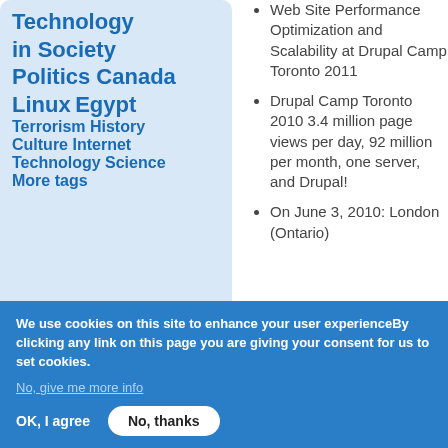Technology in Society
Politics Canada
Linux Egypt
Terrorism History
Culture Internet
Technology Science
More tags
Sponsored Links
Web Site Performance Optimization and Scalability at Drupal Camp Toronto 2011
Drupal Camp Toronto 2010 3.4 million page views per day, 92 million per month, one server, and Drupal!
On June 3, 2010: London (Ontario)
We use cookies on this site to enhance your user experienceBy clicking any link on this page you are giving your consent for us to set cookies.
No, give me more info
OK, I agree
No, thanks